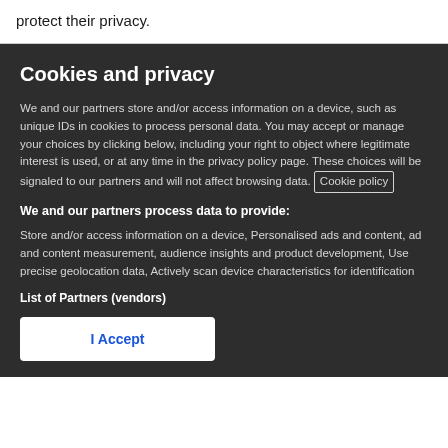protect their privacy.
Cookies and privacy
We and our partners store and/or access information on a device, such as unique IDs in cookies to process personal data. You may accept or manage your choices by clicking below, including your right to object where legitimate interest is used, or at any time in the privacy policy page. These choices will be signaled to our partners and will not affect browsing data. Cookie policy
We and our partners process data to provide:
Store and/or access information on a device, Personalised ads and content, ad and content measurement, audience insights and product development, Use precise geolocation data, Actively scan device characteristics for identification
List of Partners (vendors)
I Accept